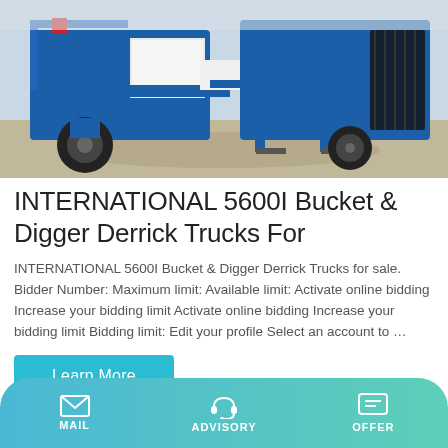[Figure (photo): Blue and white industrial truck/concrete pump machinery parked outdoors on pavement]
INTERNATIONAL 5600I Bucket & Digger Derrick Trucks For
INTERNATIONAL 5600I Bucket & Digger Derrick Trucks for sale. Bidder Number: Maximum limit: Available limit: Activate online bidding Increase your bidding limit Activate online bidding Increase your bidding limit Bidding limit: Edit your profile Select an account to …
[Figure (screenshot): Learn More button (teal/cyan background, white text)]
[Figure (photo): Partial view of another image at the bottom of the page]
MAIL   ADVISORY   OFFER